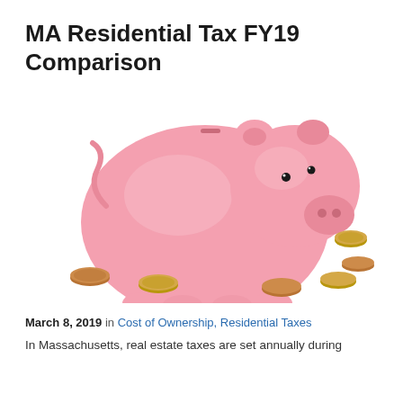MA Residential Tax FY19 Comparison
[Figure (photo): A pink ceramic piggy bank surrounded by several gold and copper coins on a white background.]
March 8, 2019 in Cost of Ownership, Residential Taxes
In Massachusetts, real estate taxes are set annually during